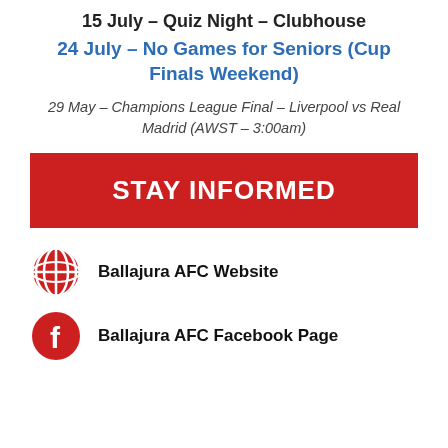15 July – Quiz Night – Clubhouse
24 July – No Games for Seniors (Cup Finals Weekend)
29 May – Champions League Final – Liverpool vs Real Madrid (AWST – 3:00am)
STAY INFORMED
Ballajura AFC Website
Ballajura AFC Facebook Page